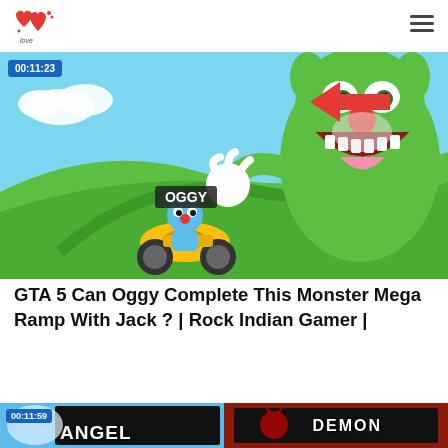Logo and navigation hamburger menu
[Figure (screenshot): Cartoon thumbnail showing Oggy (blue cartoon cat character) riding a yellow motorcycle on a green mega ramp, with a large monster version of Oggy looming behind with open mouth. Time stamp 00:11:23 in top left corner.]
GTA 5 Can Oggy Complete This Monster Mega Ramp With Jack ? | Rock Indian Gamer |
[Figure (screenshot): Left half of bottom row thumbnail showing blue sky background with ANGEL text and time stamp 00:11:59]
[Figure (screenshot): Right half of bottom row thumbnail showing DEMON text on dark background with devil icon]